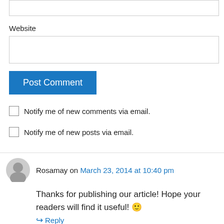Website
[Figure (screenshot): Empty website input text field]
[Figure (screenshot): Post Comment button (blue)]
Notify me of new comments via email.
Notify me of new posts via email.
Rosamay on March 23, 2014 at 10:40 pm
Thanks for publishing our article! Hope your readers will find it useful! 🙂
Reply